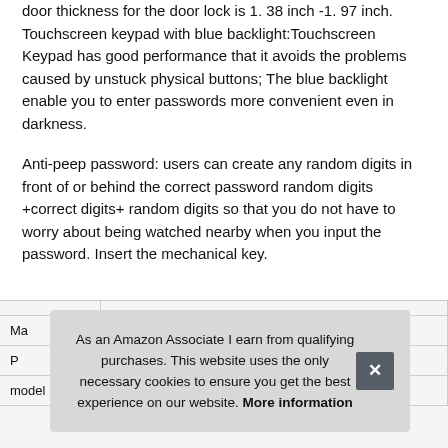door thickness for the door lock is 1. 38 inch -1. 97 inch. Touchscreen keypad with blue backlight:Touchscreen Keypad has good performance that it avoids the problems caused by unstuck physical buttons; The blue backlight enable you to enter passwords more convenient even in darkness.
Anti-peep password: users can create any random digits in front of or behind the correct password random digits +correct digits+ random digits so that you do not have to worry about being watched nearby when you input the password. Insert the mechanical key.
| Ma |  |
| P |  |
| model | ZA1000 P100 |
As an Amazon Associate I earn from qualifying purchases. This website uses the only necessary cookies to ensure you get the best experience on our website. More information